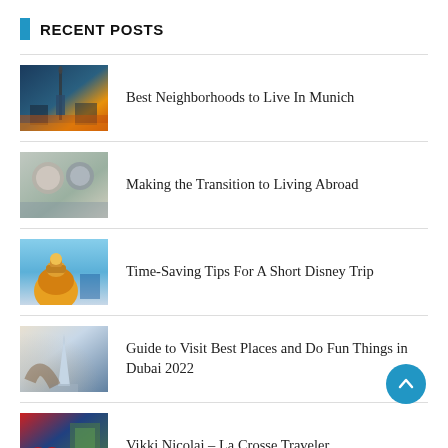RECENT POSTS
Best Neighborhoods to Live In Munich
Making the Transition to Living Abroad
Time-Saving Tips For A Short Disney Trip
Guide to Visit Best Places and Do Fun Things in Dubai 2022
Vikki Nicolai – La Crosse Traveler